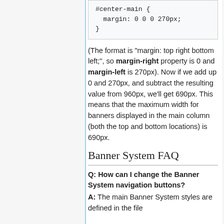(The format is "margin: top right bottom left;", so margin-right property is 0 and margin-left is 270px). Now if we add up 0 and 270px, and subtract the resulting value from 960px, we'll get 690px. This means that the maximum width for banners displayed in the main column (both the top and bottom locations) is 690px.
Banner System FAQ
Q: How can I change the Banner System navigation buttons?
A: The main Banner System styles are defined in the file